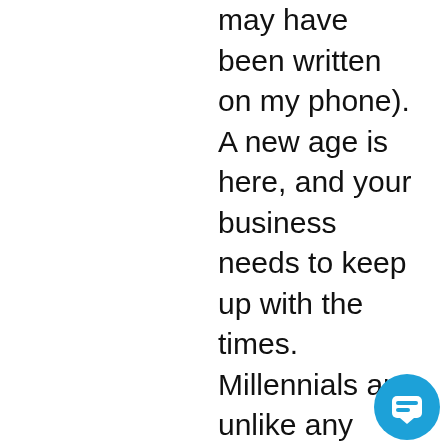may have been written on my phone). A new age is here, and your business needs to keep up with the times. Millennials are unlike any other consumer group and we have immense buying power. Ditch the old way of thinking, take a millennials advice and start investing in upgrading your mobile site.
Gotta run, my phones almost out of battery!
[Figure (illustration): Blue circular chat button icon in the bottom-right corner]